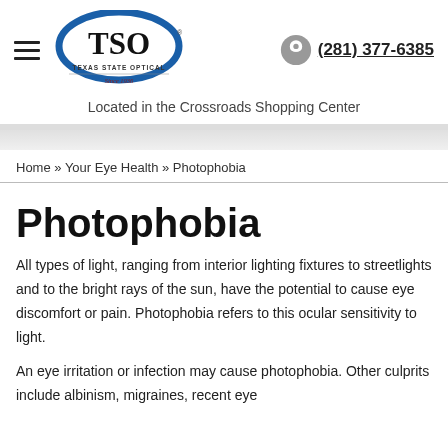[Figure (logo): Texas State Optical (TSO) logo with oval blue eye graphic, text 'Texas State Optical' and 'Since 1936']
(281) 377-6385
Located in the Crossroads Shopping Center
Home » Your Eye Health » Photophobia
Photophobia
All types of light, ranging from interior lighting fixtures to streetlights and to the bright rays of the sun, have the potential to cause eye discomfort or pain. Photophobia refers to this ocular sensitivity to light.
An eye irritation or infection may cause photophobia. Other culprits include albinism, migraines, recent eye